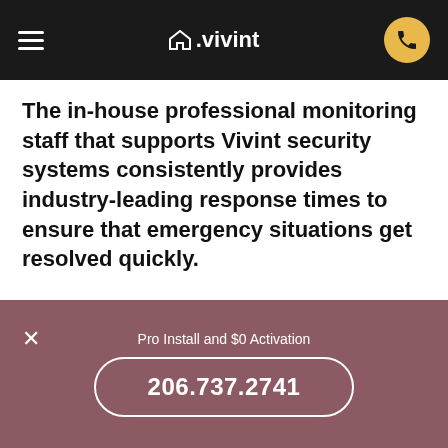vivint
The in-house professional monitoring staff that supports Vivint security systems consistently provides industry-leading response times to ensure that emergency situations get resolved quickly.
Call now for a free
Pro Install and $0 Activation
206.737.2741